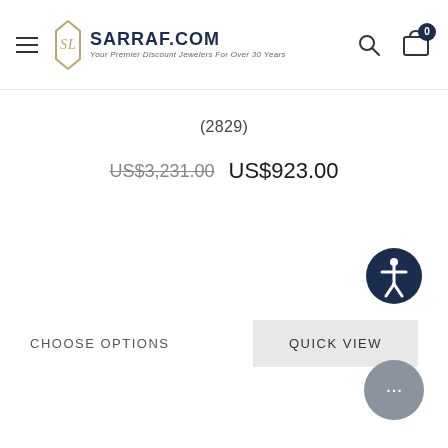SARRAF.COM - Your Premier Discount Jewelers For Over 30 Years
(2829)
US$3,231.00  US$923.00
CHOOSE OPTIONS
QUICK VIEW